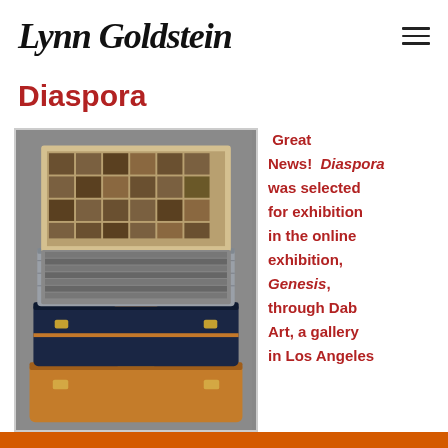Lynn Goldstein
Diaspora
[Figure (photo): A stack of vintage suitcases and trunks, the topmost open to reveal a collage of photographs and documents inside the lid, with rows of items packed inside.]
Great News! Diaspora was selected for exhibition in the online exhibition, Genesis, through Dab Art, a gallery in Los Angeles